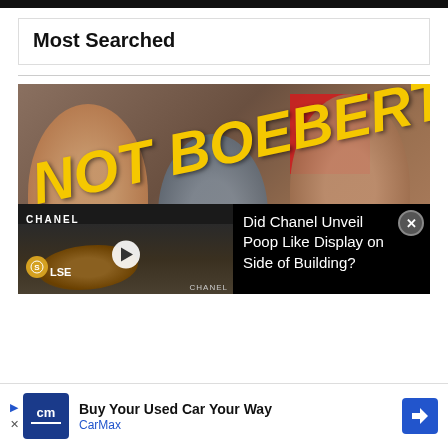Most Searched
[Figure (photo): Blurry photo of three people with large yellow italic bold text overlay reading 'NOT BOEBERT']
[Figure (screenshot): Video thumbnail showing Chanel storefront with shrimp-like objects and play button, overlaid with text 'Did Chanel Unveil Poop Like Display on Side of Building?' and close button]
Did Chanel Unveil Poop Like Display on Side of Building?
[Figure (infographic): CarMax advertisement banner: 'Buy Your Used Car Your Way' with CarMax logo and blue navigation arrow icon]